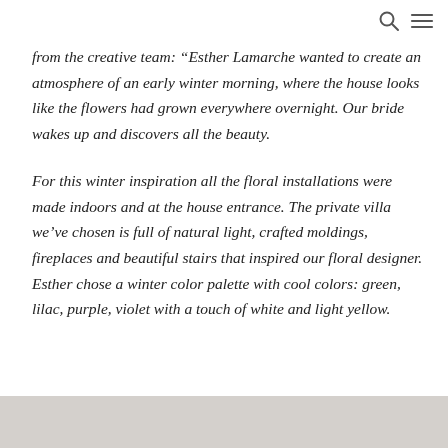[search icon] [menu icon]
from the creative team: “Esther Lamarche wanted to create an atmosphere of an early winter morning, where the house looks like the flowers had grown everywhere overnight. Our bride wakes up and discovers all the beauty.
For this winter inspiration all the floral installations were made indoors and at the house entrance. The private villa we’ve chosen is full of natural light, crafted moldings, fireplaces and beautiful stairs that inspired our floral designer. Esther chose a winter color palette with cool colors: green, lilac, purple, violet with a touch of white and light yellow.
[Figure (photo): Light grey/beige image strip at the bottom of the page, partially visible.]